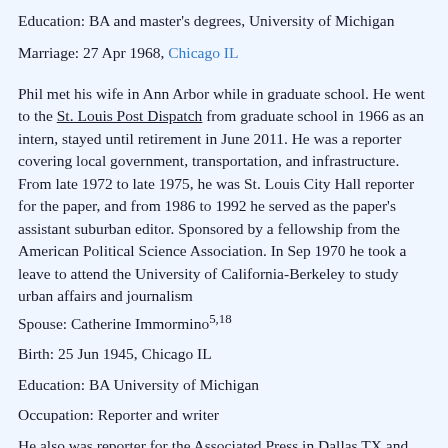Education: BA and master's degrees, University of Michigan
Marriage: 27 Apr 1968, Chicago IL
Phil met his wife in Ann Arbor while in graduate school. He went to the St. Louis Post Dispatch from graduate school in 1966 as an intern, stayed until retirement in June 2011. He was a reporter covering local government, transportation, and infrastructure. From late 1972 to late 1975, he was St. Louis City Hall reporter for the paper, and from 1986 to 1992 he served as the paper's assistant suburban editor. Sponsored by a fellowship from the American Political Science Association. In Sep 1970 he took a leave to attend the University of California-Berkeley to study urban affairs and journalism
Spouse: Catherine Immormino5,18
Birth: 25 Jun 1945, Chicago IL
Education: BA University of Michigan
Occupation: Reporter and writer
He also was reporter for the Associated Press in Dallas TX and...